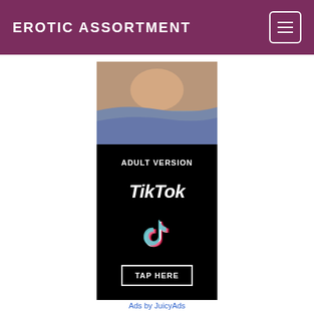EROTIC ASSORTMENT
[Figure (advertisement): Adult content advertisement banner featuring an image at top and black section with 'ADULT VERSION TikTok TAP HERE' text and TikTok logo]
Ads by JuicyAds